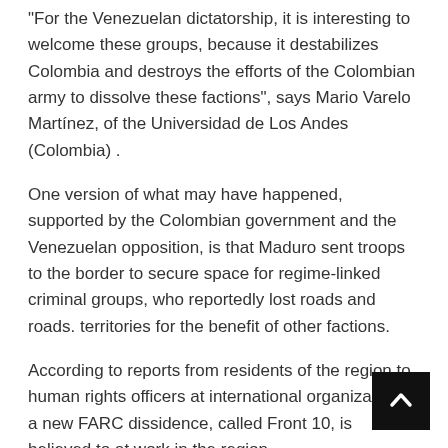“For the Venezuelan dictatorship, it is interesting to welcome these groups, because it destabilizes Colombia and destroys the efforts of the Colombian army to dissolve these factions”, says Mario Varelo Martínez, of the Universidad de Los Andes (Colombia) .
One version of what may have happened, supported by the Colombian government and the Venezuelan opposition, is that Maduro sent troops to the border to secure space for regime-linked criminal groups, who reportedly lost roads and roads. territories for the benefit of other factions.
According to reports from residents of the region to human rights officers at international organizations, a new FARC dissidence, called Front 10, is believed to at work in the region.